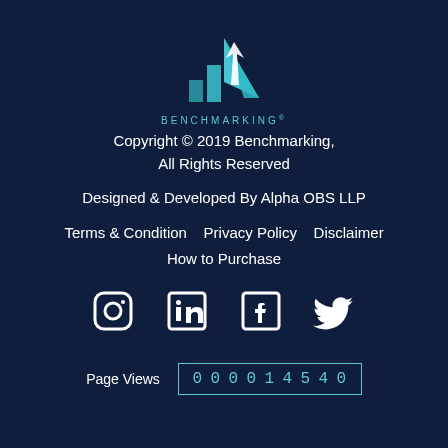[Figure (logo): Benchmarking logo with teal triangular arrow graphic and 'BENCHMARKING' text]
Copyright © 2019 Benchmarking, All Rights Reserved
Designed & Developed By Alpha OBS LLP
Terms & Condition   Privacy Policy   Disclaimer   How to Purchase
[Figure (illustration): Social media icons: Instagram, LinkedIn, Facebook, Twitter]
Page Views   000014540